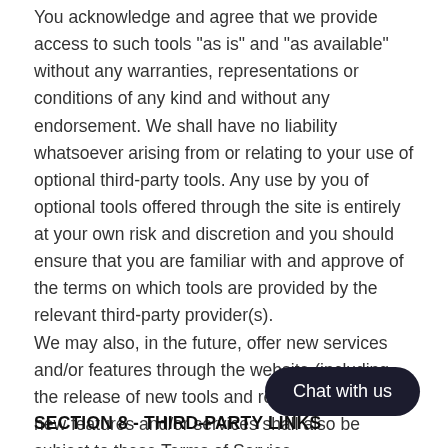You acknowledge and agree that we provide access to such tools "as is" and "as available" without any warranties, representations or conditions of any kind and without any endorsement. We shall have no liability whatsoever arising from or relating to your use of optional third-party tools. Any use by you of optional tools offered through the site is entirely at your own risk and discretion and you should ensure that you are familiar with and approve of the terms on which tools are provided by the relevant third-party provider(s).
We may also, in the future, offer new services and/or features through the website (including, the release of new tools and resources). Such new features and/or services shall also be subject to these Terms of Service.
[Figure (other): Dark rounded button with text 'Chat with us']
SECTION 8 - THIRD-PARTY LINKS